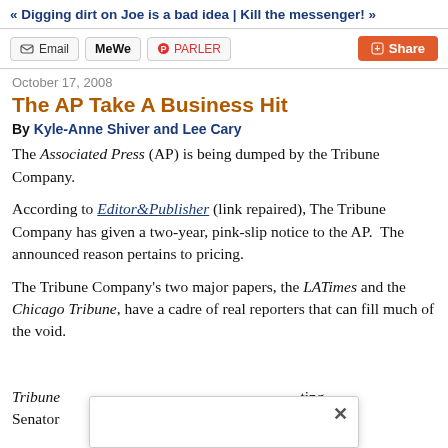« Digging dirt on Joe is a bad idea | Kill the messenger! »
[Figure (infographic): Share bar with Email, MeWe, Parler buttons and an orange Share button]
October 17, 2008
The AP Take A Business Hit
By Kyle-Anne Shiver and Lee Cary
The Associated Press (AP) is being dumped by the Tribune Company.
According to Editor&Publisher (link repaired), The Tribune Company has given a two-year, pink-slip notice to the AP.  The announced reason pertains to pricing.
The Tribune Company's two major papers, the LATimes and the Chicago Tribune, have a cadre of real reporters that can fill much of the void.
Tribune ... ting Senator ... o slum